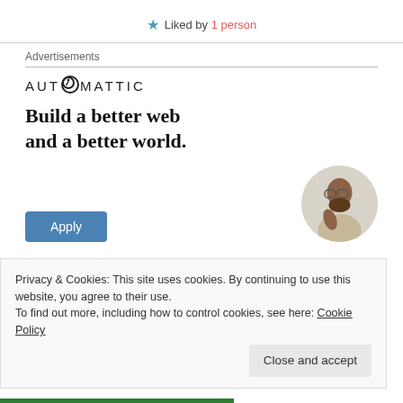★ Liked by 1 person
Advertisements
[Figure (logo): Automattic company logo with compass-style 'O' icon and spaced uppercase lettering]
Build a better web and a better world.
[Figure (photo): Circular cropped photo of a man with beard and glasses, looking upward thoughtfully, wearing a light beige shirt]
Apply
Privacy & Cookies: This site uses cookies. By continuing to use this website, you agree to their use.
To find out more, including how to control cookies, see here: Cookie Policy
Close and accept